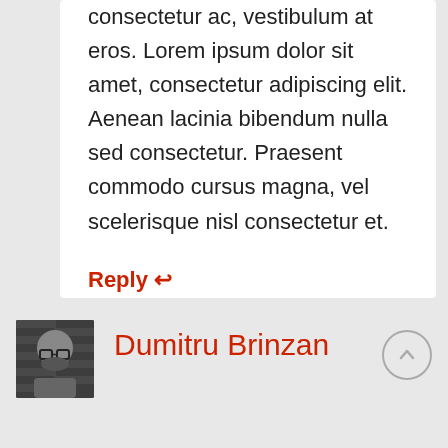consectetur ac, vestibulum at eros. Lorem ipsum dolor sit amet, consectetur adipiscing elit. Aenean lacinia bibendum nulla sed consectetur. Praesent commodo cursus magna, vel scelerisque nisl consectetur et.
Reply ↩
[Figure (photo): Black and white photo of a bald man with glasses and a beard, against a brick wall background]
Dumitru Brinzan